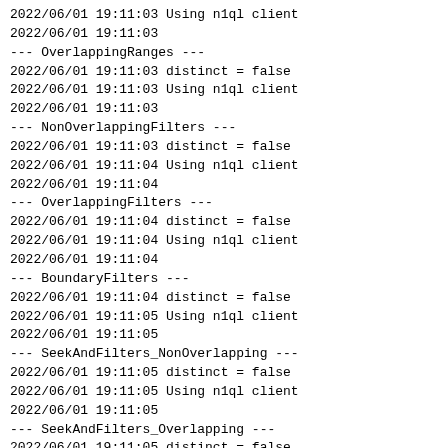2022/06/01 19:11:03 Using n1ql client
2022/06/01 19:11:03
--- OverlappingRanges ---
2022/06/01 19:11:03 distinct = false
2022/06/01 19:11:03 Using n1ql client
2022/06/01 19:11:03
--- NonOverlappingFilters ---
2022/06/01 19:11:03 distinct = false
2022/06/01 19:11:04 Using n1ql client
2022/06/01 19:11:04
--- OverlappingFilters ---
2022/06/01 19:11:04 distinct = false
2022/06/01 19:11:04 Using n1ql client
2022/06/01 19:11:04
--- BoundaryFilters ---
2022/06/01 19:11:04 distinct = false
2022/06/01 19:11:05 Using n1ql client
2022/06/01 19:11:05
--- SeekAndFilters_NonOverlapping ---
2022/06/01 19:11:05 distinct = false
2022/06/01 19:11:05 Using n1ql client
2022/06/01 19:11:05
--- SeekAndFilters_Overlapping ---
2022/06/01 19:11:05 distinct = false
2022/06/01 19:11:06 Using n1ql client
2022/06/01 19:11:06
--- SimpleRangeLowUnbounded ---
2022/06/01 19:11:06 distinct = false
2022/06/01 19:11:06 Using n1ql client
2022/06/01 19:11:06 Expected and Actual scan responses ar